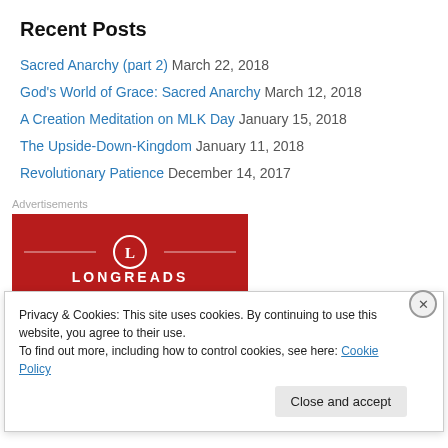Recent Posts
Sacred Anarchy (part 2) March 22, 2018
God's World of Grace: Sacred Anarchy March 12, 2018
A Creation Meditation on MLK Day January 15, 2018
The Upside-Down-Kingdom January 11, 2018
Revolutionary Patience December 14, 2017
Advertisements
[Figure (logo): Longreads advertisement banner — red background with Longreads logo and tagline 'The best stories on...']
Privacy & Cookies: This site uses cookies. By continuing to use this website, you agree to their use.
To find out more, including how to control cookies, see here: Cookie Policy
Close and accept